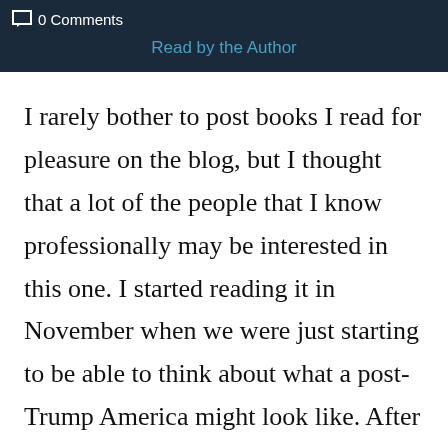0 Comments   Read by the Author
I rarely bother to post books I read for pleasure on the blog, but I thought that a lot of the people that I know professionally may be interested in this one. I started reading it in November when we were just starting to be able to think about what a post-Trump America might look like. After four years of hating the news so much I rarely watched it, I was trying to remember what it felt like when